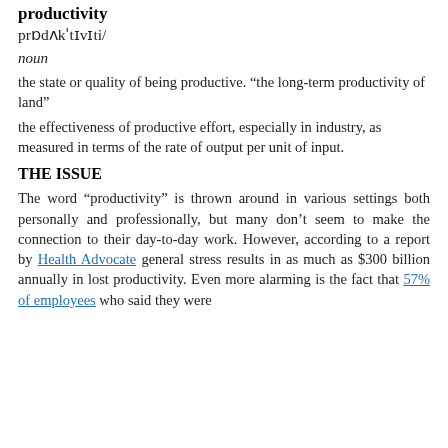productivity
prɒdʌkˈtɪvɪti/
noun
the state or quality of being productive. “the long-term productivity of land”
the effectiveness of productive effort, especially in industry, as measured in terms of the rate of output per unit of input.
THE ISSUE
The word “productivity” is thrown around in various settings both personally and professionally, but many don’t seem to make the connection to their day-to-day work. However, according to a report by Health Advocate general stress results in as much as $300 billion annually in lost productivity. Even more alarming is the fact that 57% of employees who said they were